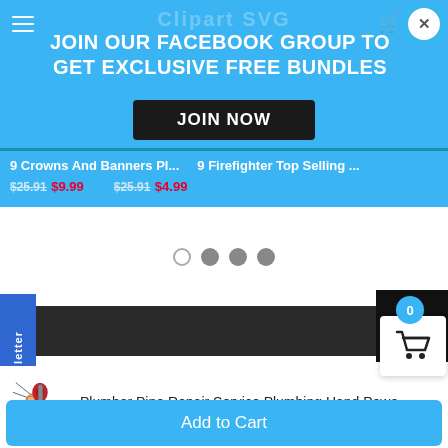[Figure (screenshot): Blue promotional banner overlay with hamburger menu icon on left and close X button on top right. Faded website logo text visible in background.]
JOIN OUR FACEBOOK GROUP TO GET EXCLUSIVE FREE BUNDLES
[Figure (other): JOIN NOW dark button]
9 Crowns And Banners Pl... 9 Firefighter Top Selling ...
$25.91 $9.99    $25.91 $4.99
[Figure (other): Carousel dots: one outline dot and three filled grey dots]
[Figure (other): Back to top black button with upward chevron arrow]
[Figure (other): Vertical newsletter tab on left side, dark navigation bar, cart badge showing 0, white cart icon box]
[Figure (other): Plumber pipe repair service product thumbnail icon — hand holding tools]
Plumber Pipe Repair Service Plumbing Hand Powe...
Add to Cart